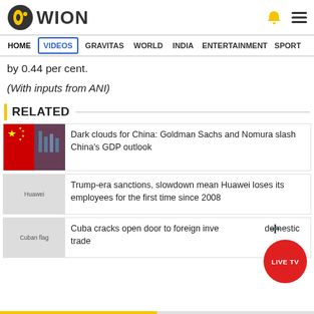WION
HOME | VIDEOS | GRAVITAS | WORLD | INDIA | ENTERTAINMENT | SPORTS
by 0.44 per cent.
(With inputs from ANI)
RELATED
Dark clouds for China: Goldman Sachs and Nomura slash China's GDP outlook
Trump-era sanctions, slowdown mean Huawei loses its employees for the first time since 2008
Cuba cracks open door to foreign investment and domestic trade